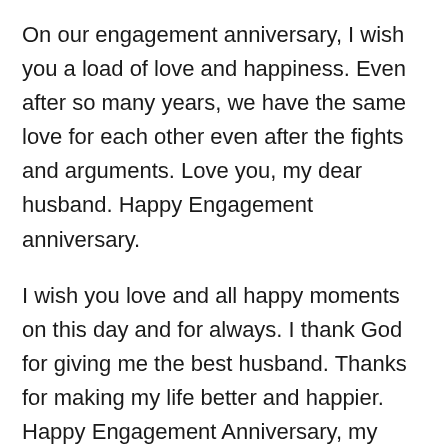On our engagement anniversary, I wish you a load of love and happiness. Even after so many years, we have the same love for each other even after the fights and arguments. Love you, my dear husband. Happy Engagement anniversary.
I wish you love and all happy moments on this day and for always. I thank God for giving me the best husband. Thanks for making my life better and happier. Happy Engagement Anniversary, my love.
No words can express the love I have for you. My life would never have been complete without you. I wish you a very happy engagement anniversary, my dear husband.